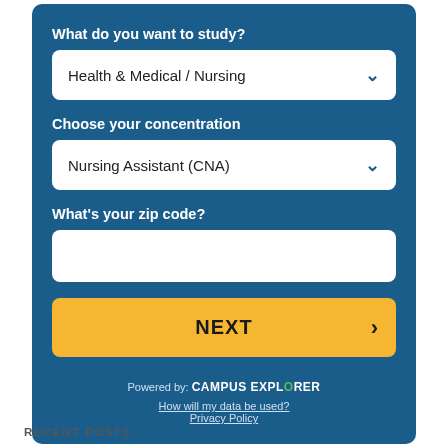What do you want to study?
[Figure (screenshot): Dropdown selector showing 'Health & Medical / Nursing' with a blue chevron arrow]
Choose your concentration
[Figure (screenshot): Dropdown selector showing 'Nursing Assistant (CNA)' with a blue chevron arrow]
What's your zip code?
[Figure (screenshot): Empty text input box for zip code]
[Figure (screenshot): Yellow NEXT button with right arrow]
Powered by: CAMPUS EXPLORER
How will my data be used?
Privacy Policy
RECENT POSTS